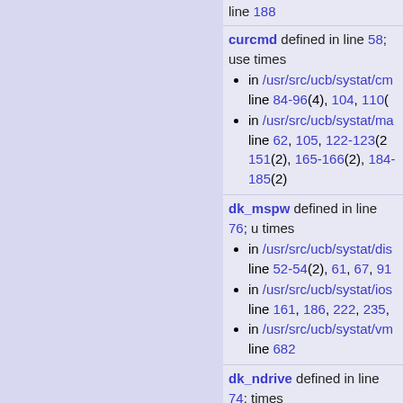line 188
curcmd defined in line 58; use times
in /usr/src/ucb/systat/cm line 84-96(4), 104, 110( ...
in /usr/src/ucb/systat/ma line 62, 105, 122-123(2 151(2), 165-166(2), 184- 185(2)
dk_mspw defined in line 76; u times
in /usr/src/ucb/systat/dis line 52-54(2), 61, 67, 91
in /usr/src/ucb/systat/ios line 161, 186, 222, 235,
in /usr/src/ucb/systat/vm line 682
dk_ndrive defined in line 74; times
in /usr/src/ucb/systat/dis line 47-57(8), 90, 201, 2
in /usr/src/ucb/systat/ios line 83-86(3), 103-109(... 160, 185, 204, 221, 234,